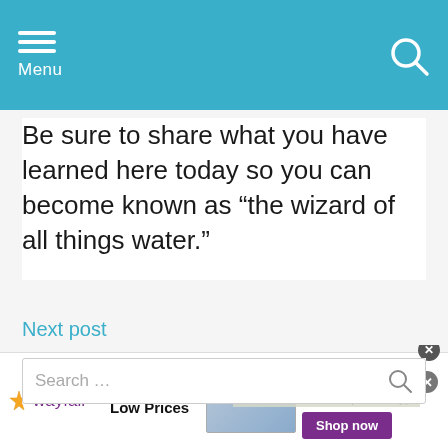Menu
Be sure to share what you have learned here today so you can become known as “the wizard of all things water.”
Next post
Search …
[Figure (screenshot): Wayfair advertisement banner: 'Top Appliances Low Prices' with 'Shop now' button, and an overlapping ad showing 'We believe the global' text on black background]
e source was found fo this